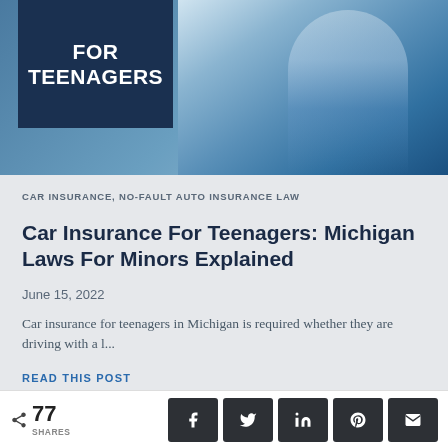[Figure (photo): Blog post header image showing a teenage girl in a car, with a dark blue overlay box containing bold white text reading FOR TEENAGERS]
CAR INSURANCE, NO-FAULT AUTO INSURANCE LAW
Car Insurance For Teenagers: Michigan Laws For Minors Explained
June 15, 2022
Car insurance for teenagers in Michigan is required whether they are driving with a l...
READ THIS POST
77 SHARES